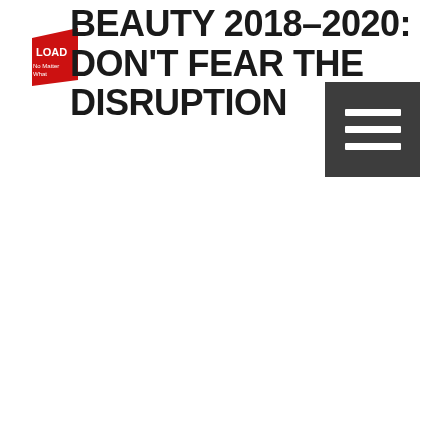BEAUTY 2018–2020: DON'T FEAR THE DISRUPTION
[Figure (logo): Red diagonal book/report logo labeled 'LOAD' in white text on red background]
[Figure (other): Dark gray square menu/hamburger button with three white horizontal lines]